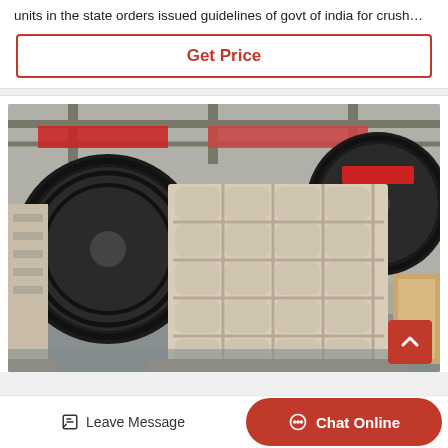units in the state orders issued guidelines of govt of india for crush…
Get Price
[Figure (photo): Industrial jaw crusher machine in a manufacturing facility. Large black flywheel visible on left, cream/beige colored crusher body with ribbed grid panels on right. Chinese banner text visible in background. Factory floor setting.]
Leave Message
Chat Online